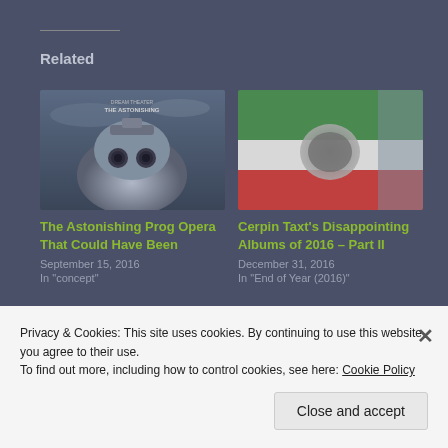Related
[Figure (photo): Album cover for The Astonishing by Dream Theater – dark sci-fi robot/machinery imagery with text 'THE ASTONISHING']
The Astonishing Prog Opera That Could Have Been
September 15, 2016
In "concept"
[Figure (photo): Blurred album cover with green, white and red colors against grey background]
Cerpin Taxt's Disappointing Albums of 2016 – Part II
December 31, 2016
In "End of Year (2016)"
[Figure (photo): Colorful red and green image, partially visible at bottom of page]
Privacy & Cookies: This site uses cookies. By continuing to use this website, you agree to their use.
To find out more, including how to control cookies, see here: Cookie Policy
Close and accept